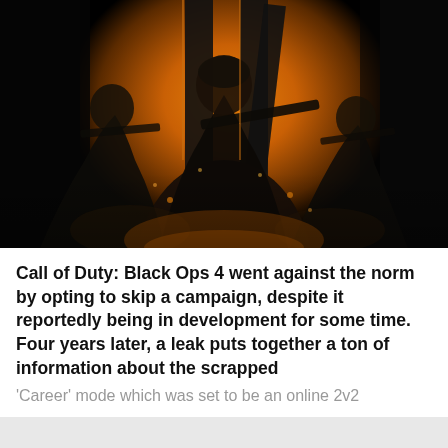[Figure (photo): Call of Duty: Black Ops 4 promotional art showing three armed soldiers in tactical gear with weapons against a dark orange and black background with a large roman numeral IV logo.]
Call of Duty: Black Ops 4 went against the norm by opting to skip a campaign, despite it reportedly being in development for some time. Four years later, a leak puts together a ton of information about the scrapped
'Career' mode which was set to be an online 2v2